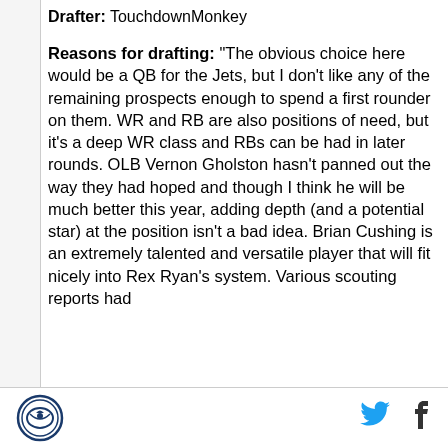Drafter: TouchdownMonkey
Reasons for drafting: "The obvious choice here would be a QB for the Jets, but I don't like any of the remaining prospects enough to spend a first rounder on them. WR and RB are also positions of need, but it's a deep WR class and RBs can be had in later rounds. OLB Vernon Gholston hasn't panned out the way they had hoped and though I think he will be much better this year, adding depth (and a potential star) at the position isn't a bad idea. Brian Cushing is an extremely talented and versatile player that will fit nicely into Rex Ryan's system. Various scouting reports had